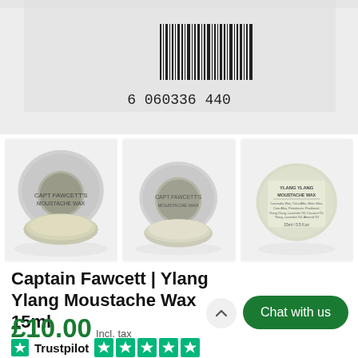[Figure (photo): Close-up of bottom of tin with barcode showing 6 060336 440...]
[Figure (photo): Three thumbnails of Captain Fawcett Ylang Ylang Moustache Wax 15ml tin: open tin showing wax, front label view, back label view]
Captain Fawcett | Ylang Ylang Moustache Wax 15ml
£10.00 Incl. tax
Chat with us
Trustpilot ★★★★★